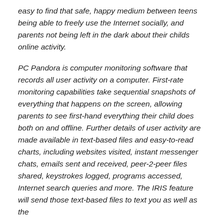easy to find that safe, happy medium between teens being able to freely use the Internet socially, and parents not being left in the dark about their childs online activity.
PC Pandora is computer monitoring software that records all user activity on a computer. First-rate monitoring capabilities take sequential snapshots of everything that happens on the screen, allowing parents to see first-hand everything their child does both on and offline. Further details of user activity are made available in text-based files and easy-to-read charts, including websites visited, instant messenger chats, emails sent and received, peer-2-peer files shared, keystrokes logged, programs accessed, Internet search queries and more. The IRIS feature will send those text-based files to text you as well as the